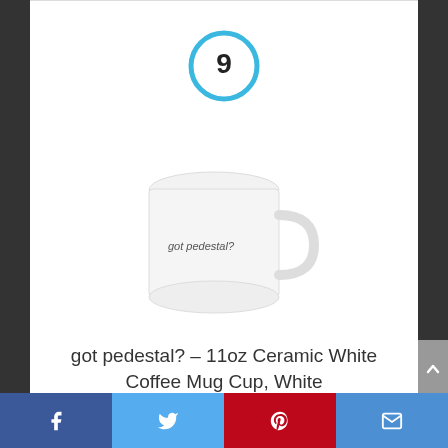[Figure (other): Blue circle with number 9 inside]
[Figure (photo): White ceramic coffee mug with text 'got pedestal?' printed on it]
got pedestal? – 11oz Ceramic White Coffee Mug Cup, White
By Knick Knack Gifts
View Product
7